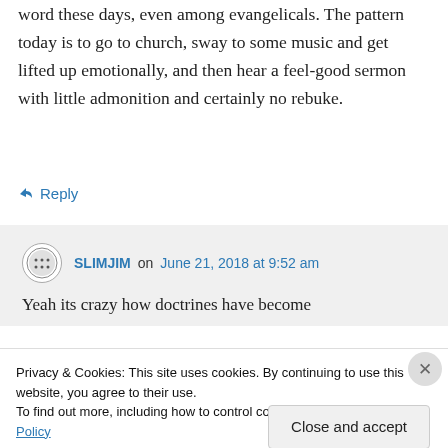word these days, even among evangelicals. The pattern today is to go to church, sway to some music and get lifted up emotionally, and then hear a feel-good sermon with little admonition and certainly no rebuke.
↳ Reply
SLIMJIM on June 21, 2018 at 9:52 am
Yeah its crazy how doctrines have become
Privacy & Cookies: This site uses cookies. By continuing to use this website, you agree to their use.
To find out more, including how to control cookies, see here: Cookie Policy
Close and accept